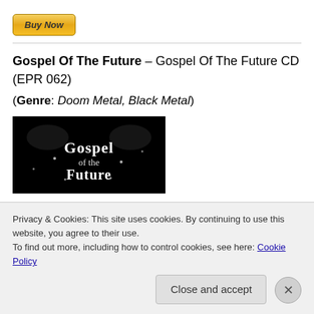[Figure (other): Yellow 'Buy Now' PayPal-style button]
Gospel Of The Future – Gospel Of The Future CD (EPR 062)
(Genre: Doom Metal, Black Metal)
[Figure (photo): Black and white album cover image showing 'Gospel of the Future' gothic lettering on a dark background]
Privacy & Cookies: This site uses cookies. By continuing to use this website, you agree to their use.
To find out more, including how to control cookies, see here: Cookie Policy
Close and accept